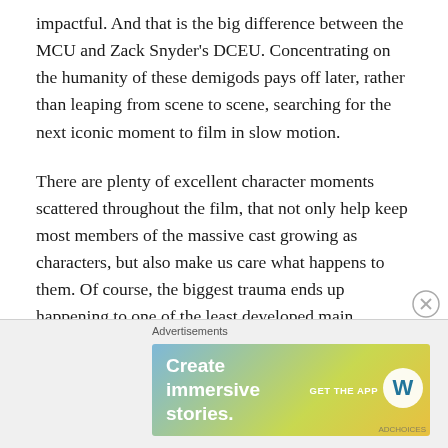impactful. And that is the big difference between the MCU and Zack Snyder's DCEU. Concentrating on the humanity of these demigods pays off later, rather than leaping from scene to scene, searching for the next iconic moment to film in slow motion.
There are plenty of excellent character moments scattered throughout the film, that not only help keep most members of the massive cast growing as characters, but also make us care what happens to them. Of course, the biggest trauma ends up happening to one of the least developed main characters. And that ties into the biggest problem with the film – too much is happening. There are too many
Advertisements
[Figure (other): Advertisement banner with gradient background (blue to yellow-green). Text reads 'Create immersive stories.' with 'GET THE APP' and WordPress logo on right side.]